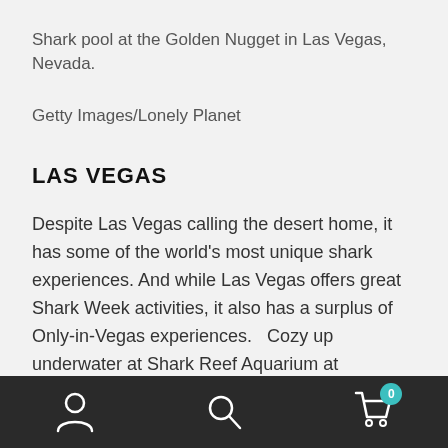Shark pool at the Golden Nugget in Las Vegas, Nevada.
Getty Images/Lonely Planet
LAS VEGAS
Despite Las Vegas calling the desert home, it has some of the world’s most unique shark experiences. And while Las Vegas offers great Shark Week activities, it also has a surplus of Only-in-Vegas experiences.   Cozy up underwater at Shark Reef Aquarium at Mandalay Bay Resort and Casino where guests dive side-by-side with more than 30 sharks, including sandtiger, white-
Navigation bar with user, search, and cart icons